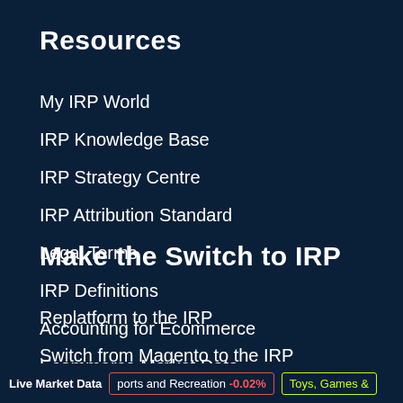Resources
My IRP World
IRP Knowledge Base
IRP Strategy Centre
IRP Attribution Standard
Legal Terms
IRP Definitions
Accounting for Ecommerce
Ecommerce Market Data
Make the Switch to IRP
Replatform to the IRP
Switch from Magento to the IRP
Live Market Data   Sports and Recreation -0.02%   Toys, Games &